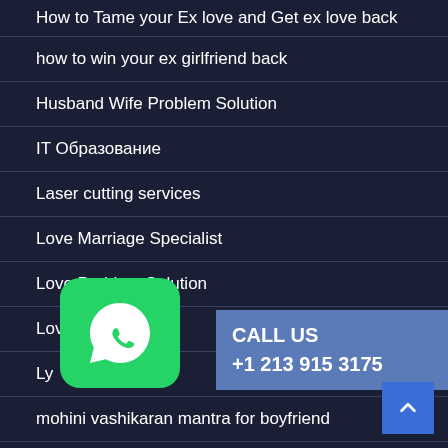How to Tame your Ex love and Get ex love back
how to win your ex girlfriend back
Husband Wife Problem Solution
IT Образование
Laser cutting services
Love Marriage Specialist
Love Problem Solution
Love spell
Ly
mohini vashikaran mantra for boyfriend
[Figure (logo): WhatsApp green rounded square logo icon]
CALL US +1 213 915 3175